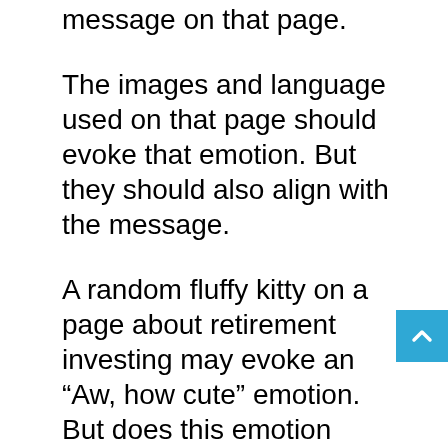message on that page.
The images and language used on that page should evoke that emotion. But they should also align with the message.
A random fluffy kitty on a page about retirement investing may evoke an “Aw, how cute” emotion. But does this emotion make sense on this page?
What would be better for this page? You might include images of exotic places. You might have